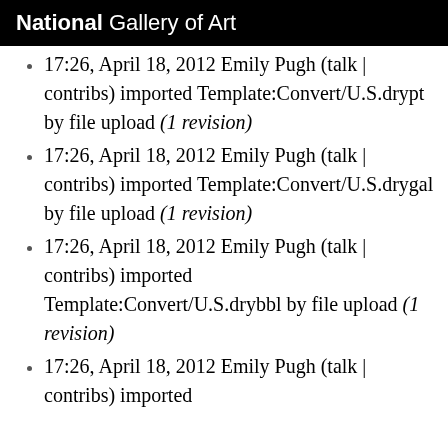National Gallery of Art
17:26, April 18, 2012 Emily Pugh (talk | contribs) imported Template:Convert/U.S.drypt by file upload (1 revision)
17:26, April 18, 2012 Emily Pugh (talk | contribs) imported Template:Convert/U.S.drygal by file upload (1 revision)
17:26, April 18, 2012 Emily Pugh (talk | contribs) imported Template:Convert/U.S.drybbl by file upload (1 revision)
17:26, April 18, 2012 Emily Pugh (talk | contribs) imported